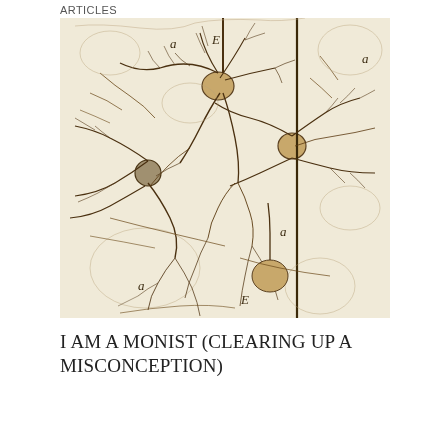ARTICLES
[Figure (illustration): Historical scientific illustration of neurons (nerve cells) showing detailed branching dendrites and axons, labeled with letters 'a' and 'E', drawn in dark brown ink on cream/beige background. Classic Golgi-stained or similar histological preparation style, reminiscent of Ramon y Cajal's neurological drawings.]
I am a Monist (clearing up a misconception)